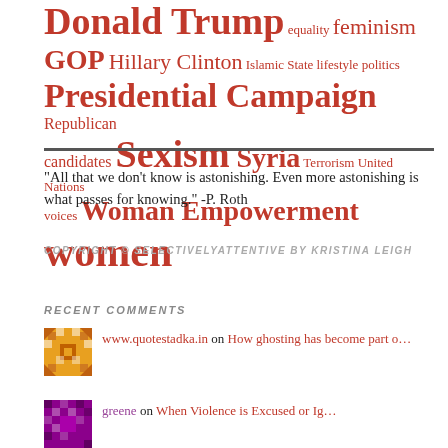[Figure (infographic): Tag cloud with political and social topics in red, varying font sizes]
"All that we don't know is astonishing. Even more astonishing is what passes for knowing." -P. Roth
COPYRIGHT © SELECTIVELYATTENTIVE BY KRISTINA LEIGH
RECENT COMMENTS
www.quotestadka.in on How ghosting has become part o...
greene on When Violence is Excused or Ig...